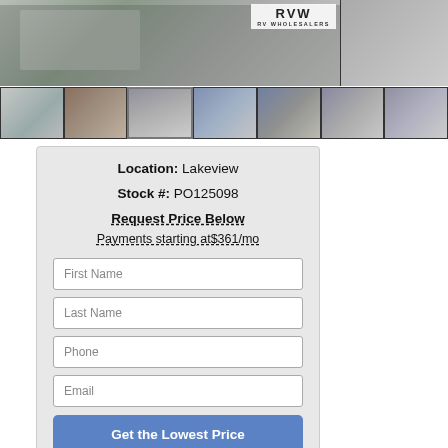[Figure (photo): RV Wholesalers dealership photo collage showing multiple RV interior and exterior shots with logo in top right]
Location:  Lakeview
Stock #:  PO125098
Request Price Below
Payments starting at$361/mo
First Name
Last Name
Phone
Email
Get the Lowest Price
Receive an additional $3,000